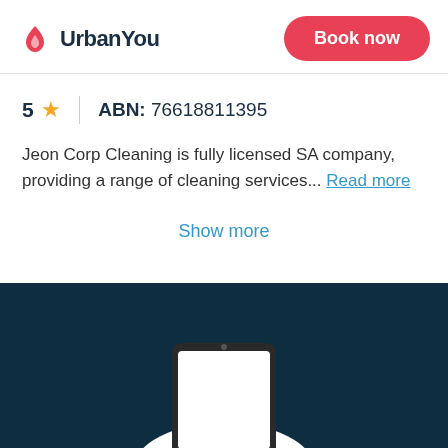UrbanYou | Book now
5 ★  |  ABN: 76618811395
Jeon Corp Cleaning is fully licensed SA company, providing a range of cleaning services... Read more
Show more
[Figure (illustration): Dark teal background section with a smartphone illustration at the bottom of the page]